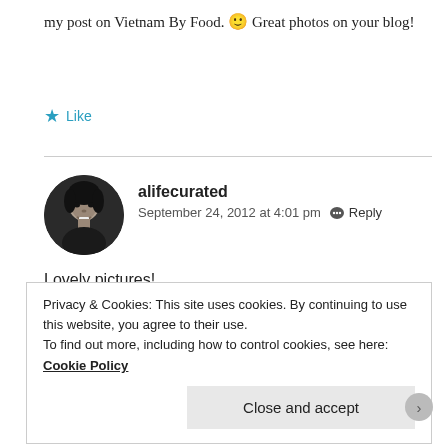my post on Vietnam By Food. 🙂 Great photos on your blog!
★ Like
[Figure (photo): Black and white circular avatar photo of a smiling woman]
alifecurated
September 24, 2012 at 4:01 pm  💬 Reply
Lovely pictures!
Privacy & Cookies: This site uses cookies. By continuing to use this website, you agree to their use.
To find out more, including how to control cookies, see here: Cookie Policy
Close and accept